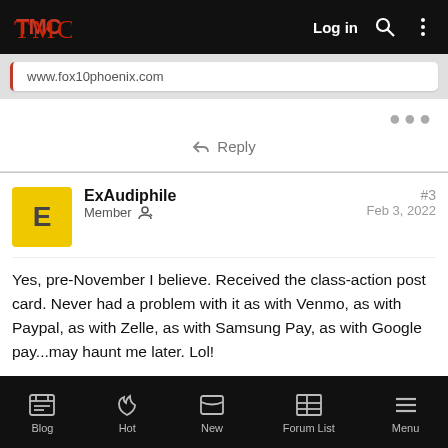TMC forum header with Log in, search, and menu icons
www.fox10phoenix.com
Reply
ExAudiphile
Member
#3
Feb 3, 2022
Yes, pre-November I believe. Received the class-action post card. Never had a problem with it as with Venmo, as with Paypal, as with Zelle, as with Samsung Pay, as with Google pay...may haunt me later. Lol!
Blog  Hot  New  Forum List  Menu